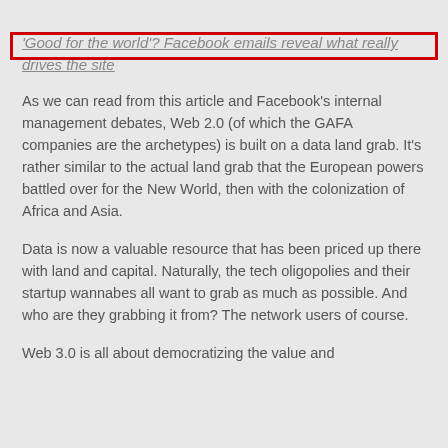[Figure (other): Red border box at top of page, partially cut off, containing an image]
'Good for the world'? Facebook emails reveal what really drives the site
As we can read from this article and Facebook's internal management debates, Web 2.0 (of which the GAFA companies are the archetypes) is built on a data land grab. It's rather similar to the actual land grab that the European powers battled over for the New World, then with the colonization of Africa and Asia.
Data is now a valuable resource that has been priced up there with land and capital. Naturally, the tech oligopolies and their startup wannabes all want to grab as much as possible. And who are they grabbing it from? The network users of course.
Web 3.0 is all about democratizing the value and